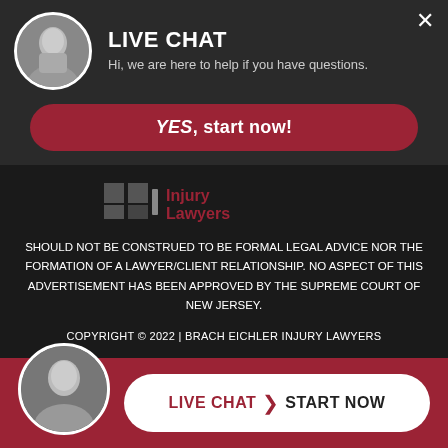[Figure (screenshot): Live chat popup overlay with attorney avatar, YES start now button, and injury lawyers logo bar]
INFORMATION ONLY. THE INFORMATION PRESENTED AT THIS SITE SHOULD NOT BE CONSTRUED TO BE FORMAL LEGAL ADVICE NOR THE FORMATION OF A LAWYER/CLIENT RELATIONSHIP. NO ASPECT OF THIS ADVERTISEMENT HAS BEEN APPROVED BY THE SUPREME COURT OF NEW JERSEY.
COPYRIGHT © 2022 | BRACH EICHLER INJURY LAWYERS
[Figure (screenshot): Bottom red bar with attorney avatar and LIVE CHAT START NOW button]